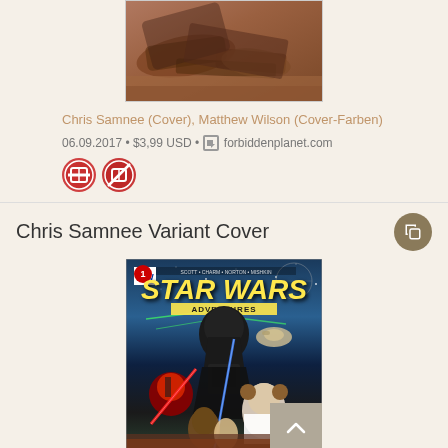[Figure (illustration): Top portion of a comic book cover showing a dark reddish-brown scene with crashed or wrecked vehicles/machinery.]
Chris Samnee (Cover), Matthew Wilson (Cover-Farben)
06.09.2017 • $3,99 USD • forbiddenplanet.com
[Figure (illustration): Two circular icon badges with red/orange background and white stripe/book icons.]
Chris Samnee Variant Cover
[Figure (illustration): Star Wars Adventures #1 variant cover by Chris Samnee featuring Darth Vader, Darth Maul, Princess Leia, and other Star Wars characters with lightsabers and spaceships in the background.]